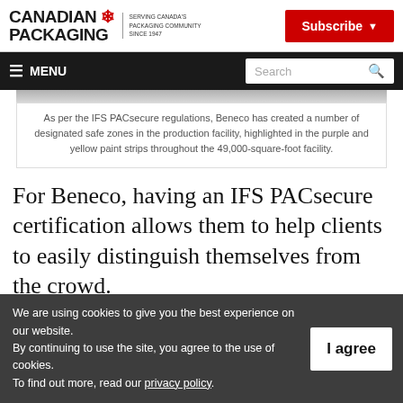CANADIAN PACKAGING — SERVING CANADA'S PACKAGING COMMUNITY SINCE 1947 | Subscribe
MENU | Search
As per the IFS PACsecure regulations, Beneco has created a number of designated safe zones in the production facility, highlighted in the purple and yellow paint strips throughout the 49,000-square-foot facility.
For Beneco, having an IFS PACsecure certification allows them to help clients to easily distinguish themselves from the crowd.
We are using cookies to give you the best experience on our website. By continuing to use the site, you agree to the use of cookies. To find out more, read our privacy policy.